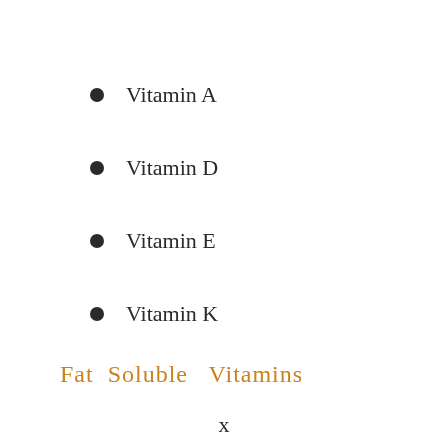Vitamin A
Vitamin D
Vitamin E
Vitamin K
Fat Soluble Vitamins